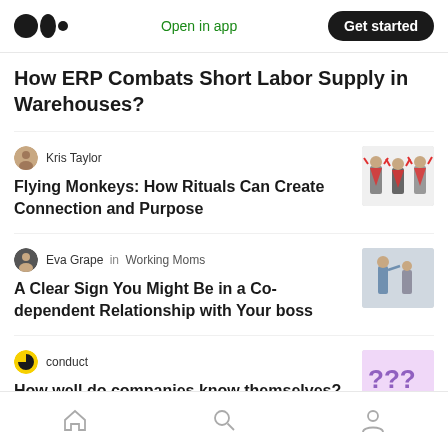Medium app header with logo, Open in app, Get started
How ERP Combats Short Labor Supply in Warehouses?
Kris Taylor
Flying Monkeys: How Rituals Can Create Connection and Purpose
Eva Grape in Working Moms
A Clear Sign You Might Be in a Co-dependent Relationship with Your boss
conduct
How well do companies know themselves?
Home, Search, Profile navigation